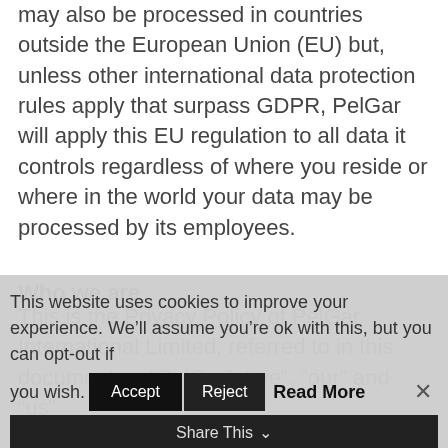may also be processed in countries outside the European Union (EU) but, unless other international data protection rules apply that surpass GDPR, PelGar will apply this EU regulation to all data it controls regardless of where you reside or where in the world your data may be processed by its employees.
Who we are
This is the Privacy Policy of PelGar International Limited, referred to in this document as “PelGar”, “we”, “our” and “us”
This website uses cookies to improve your experience. We’ll assume you’re ok with this, but you can opt-out if you wish.